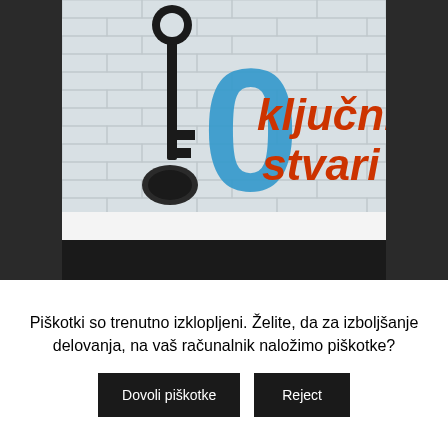[Figure (logo): Logo showing '10 ključnih stvari' — a large blue number 10 with a key graphic integrated into it, and red bold text 'ključnih stvari' against a white brick wall background.]
© 2018 Socialna akademija
Najcenejša izposoja video opreme
Piškotki so trenutno izklopljeni. Želite, da za izboljšanje delovanja, na vaš računalnik naložimo piškotke?
Dovoli piškotke
Reject